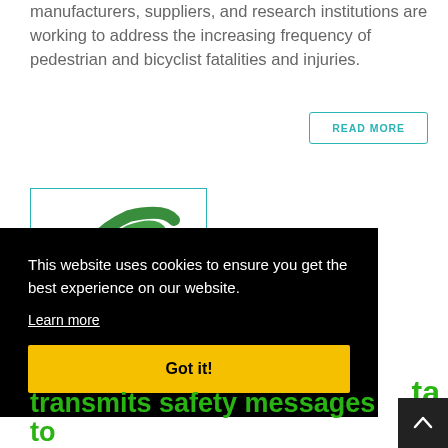manufacturers, suppliers, and research institutions are working to address the increasing frequency of pedestrian and bicyclist fatalities and injuries.
READ MORE
[Figure (logo): Green swirl/arc logo inside a teal-bordered white box]
This website uses cookies to ensure you get the best experience on our website. Learn more
Got it!
transmits safety messages to